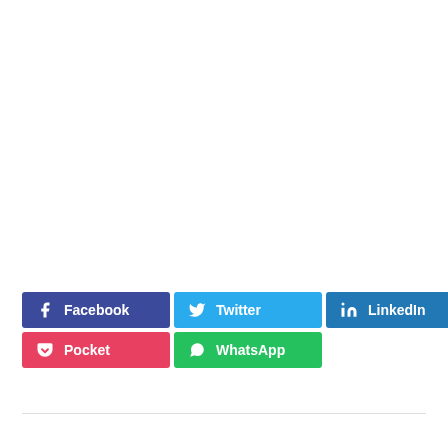[Figure (infographic): Social media share buttons: Facebook (dark blue), Twitter (light blue), LinkedIn (medium blue), Pinterest (dark red) in first row; Pocket (red-pink) and WhatsApp (green) in second row. Each button has an icon and label text.]